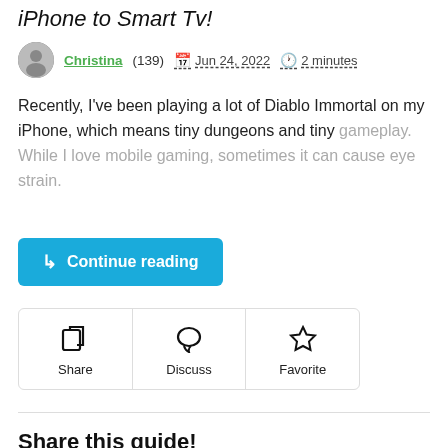iPhone to Smart Tv!
Christina (139)  Jun 24, 2022  2 minutes
Recently, I've been playing a lot of Diablo Immortal on my iPhone, which means tiny dungeons and tiny gameplay. While I love mobile gaming, sometimes it can cause eye strain.
Continue reading
Share  Discuss  Favorite
Share this guide!